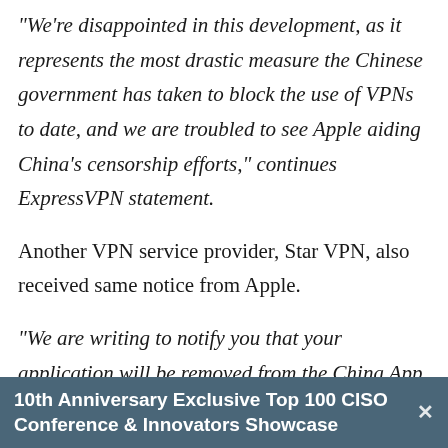“We’re disappointed in this development, as it represents the most drastic measure the Chinese government has taken to block the use of VPNs to date, and we are troubled to see Apple aiding China’s censorship efforts,” continues ExpressVPN statement.
Another VPN service provider, Star VPN, also received same notice from Apple.
“We are writing to notify you that your application will be removed from the China App Store because it includes content that is illegal in China,” Apple said in the notice. “We know this stuff is complicated, but it is your responsibility to understand and make sure
10th Anniversary Exclusive Top 100 CISO Conference & Innovators Showcase